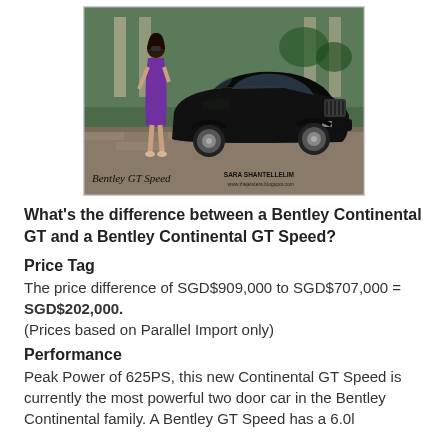[Figure (photo): Photo of a woman in a purple dress standing next to a black Bentley GT Speed car. Text overlay reads 'Bentley GT Speed' and 'SARA SHANTELLELIM www.thejetstera.blogspot.com']
What's the difference between a Bentley Continental GT and a Bentley Continental GT Speed?
Price Tag
The price difference of SGD$909,000 to SGD$707,000 = SGD$202,000.
(Prices based on Parallel Import only)
Performance
Peak Power of 625PS, this new Continental GT Speed is currently the most powerful two door car in the Bentley Continental family. A Bentley GT Speed has a 6.0l...